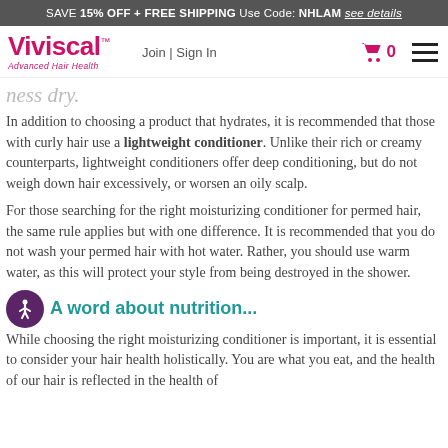SAVE 15% OFF + FREE SHIPPING Use Code: NHLAM see details
Viviscal Advanced Hair Health | Join | Sign In | Cart 0
ness dry.
In addition to choosing a product that hydrates, it is recommended that those with curly hair use a lightweight conditioner. Unlike their rich or creamy counterparts, lightweight conditioners offer deep conditioning, but do not weigh down hair excessively, or worsen an oily scalp.
For those searching for the right moisturizing conditioner for permed hair, the same rule applies but with one difference. It is recommended that you do not wash your permed hair with hot water. Rather, you should use warm water, as this will protect your style from being destroyed in the shower.
A word about nutrition...
While choosing the right moisturizing conditioner is important, it is essential to consider your hair health holistically. You are what you eat, and the health of our hair is reflected in the health of